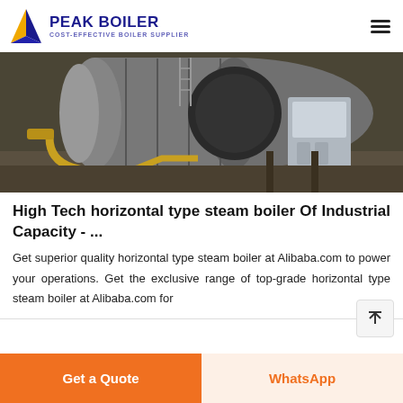PEAK BOILER — COST-EFFECTIVE BOILER SUPPLIER
[Figure (photo): Industrial horizontal type steam boiler in a factory setting, showing large cylindrical metallic boiler with yellow/gold piping and control cabinet to the right]
High Tech horizontal type steam boiler Of Industrial Capacity - ...
Get superior quality horizontal type steam boiler at Alibaba.com to power your operations. Get the exclusive range of top-grade horizontal type steam boiler at Alibaba.com for